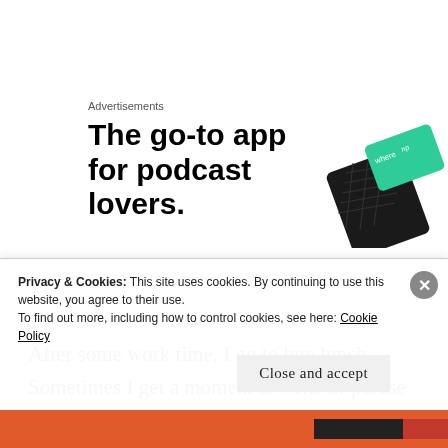Advertisements
[Figure (infographic): Advertisement banner: 'The go-to app for podcast lovers.' with an image of a phone/device in black and green on the right side.]
After some work time, I go to buy lunch. Sometimes I get a moment to write or peruse online articles, but today is not one of those days. I eat at my desk and prep
Privacy & Cookies: This site uses cookies. By continuing to use this website, you agree to their use.
To find out more, including how to control cookies, see here: Cookie Policy
Close and accept